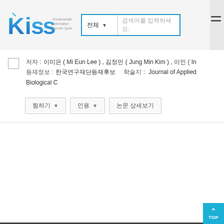[Figure (logo): KISS (Koreanstudies Information Service System) logo with blue stylized letters and gray text]
저자 : 이미은 ( Mi Eun Lee ) , 김정민 ( Jung Min Kim ) , 이인 ( In ...
등재정보 : 한국연구재단 등재후보        학술지 : Journal of Applied Biological C...
찜하기 ▾   인용 ▾   논문 상세보기
[Figure (screenshot): TOP scroll button in cyan/blue color at bottom right]